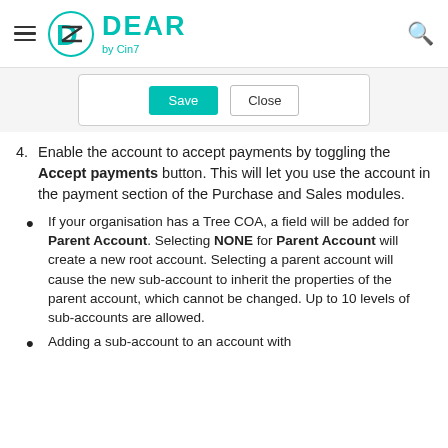DEAR by Cin7
[Figure (screenshot): Screenshot showing Save and Close buttons in a dialog box]
4. Enable the account to accept payments by toggling the Accept payments button. This will let you use the account in the payment section of the Purchase and Sales modules.
If your organisation has a Tree COA, a field will be added for Parent Account. Selecting NONE for Parent Account will create a new root account. Selecting a parent account will cause the new sub-account to inherit the properties of the parent account, which cannot be changed. Up to 10 levels of sub-accounts are allowed.
Adding a sub-account to an account with